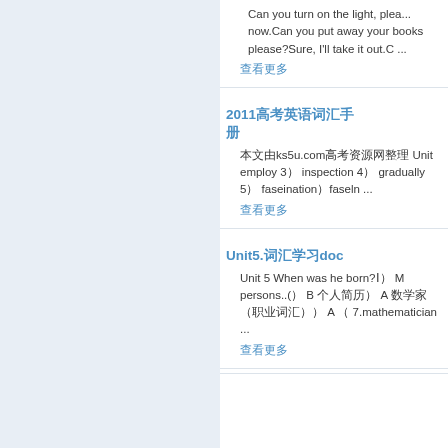Can you turn on the light, please? ...(truncated) now.Can you put away your books please?Sure, I'll take it out.C ...
查看更多
2011高考英语词汇手册...
本文由ks5u.com高考资源网整理 Unit employ 3） inspection 4） gradually 5） faseination）faseln ...
查看更多
Unit5.词汇学习doc
Unit 5 When was he born?Ⅰ） M persons..(） B 个人简历） A 数学家（职业词汇）） A （ 7.mathematician ...
查看更多